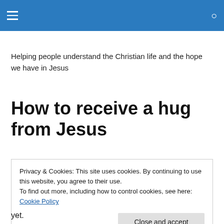Helping people understand the Christian life and the hope we have in Jesus
How to receive a hug from Jesus
Privacy & Cookies: This site uses cookies. By continuing to use this website, you agree to their use.
To find out more, including how to control cookies, see here: Cookie Policy
Close and accept
yet.